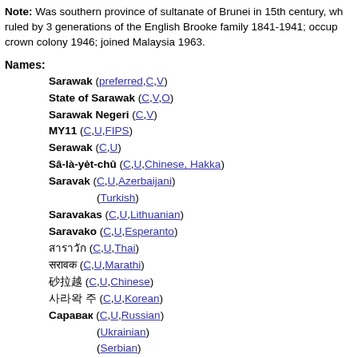Note: Was southern province of sultanate of Brunei in 15th century, wh ruled by 3 generations of the English Brooke family 1841-1941; occup crown colony 1946; joined Malaysia 1963.
Names:
Sarawak (preferred,C,V)
State of Sarawak (C,V,O)
Sarawak Negeri (C,V)
MY11 (C,U,FIPS)
Serawak (C,U)
Sâ-là-yėt-chû (C,U,Chinese, Hakka)
Saravak (C,U,Azerbaijani) (Turkish)
Saravakas (C,U,Lithuanian)
Saravako (C,U,Esperanto)
สาราวัก (C,U,Thai)
सरावक (C,U,Marathi)
砂拉越 (C,U,Chinese)
사라왁 주 (C,U,Korean)
Саравак (C,U,Russian) (Ukrainian) (Serbian) (Macedonian) (Bulgarian)
サラワク州 (C,U,Japanese)
سراواک (C,U,Urdu)